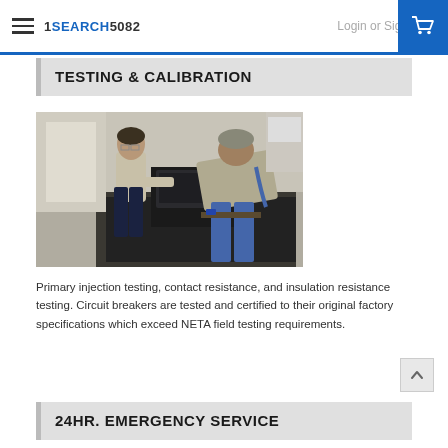1-800-245-5082 | Login or Sign Up
TESTING & CALIBRATION
[Figure (photo): Two technicians working on industrial electrical testing equipment in a lab setting. One man stands operating a control panel, another leans over examining equipment.]
Primary injection testing, contact resistance, and insulation resistance testing. Circuit breakers are tested and certified to their original factory specifications which exceed NETA field testing requirements.
24HR. EMERGENCY SERVICE